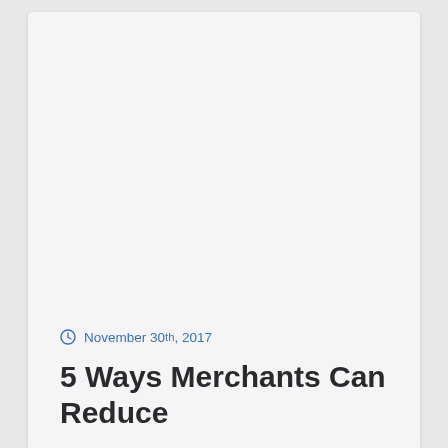November 30th, 2017
5 Ways Merchants Can Reduce